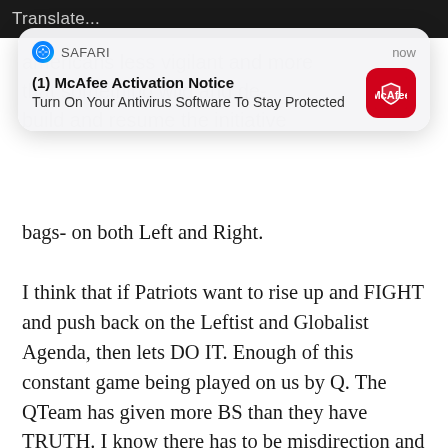[Figure (screenshot): Top black bar with 'Translate...' text partially visible]
[Figure (screenshot): iOS Safari push notification popup reading '(1) McAfee Activation Notice — Turn On Your Antivirus Software To Stay Protected' with Safari icon and McAfee red logo icon, timestamped 'now']
bags- on both Left and Right.

I think that if Patriots want to rise up and FIGHT and push back on the Leftist and Globalist Agenda, then lets DO IT. Enough of this constant game being played on us by Q. The QTeam has given more BS than they have TRUTH. I know there has to be misdirection and some lies to maintain Operational Control, but they must truly think American Patriots and Commie Fighters are naive, weak, and lacking in their own fortitude, when they keep pushing daily narrative that is vague, give promises that are never kept, and dates